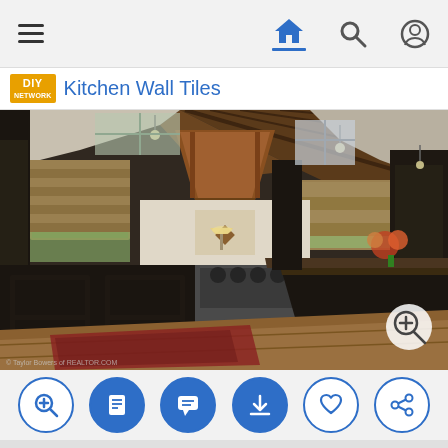Navigation bar with hamburger menu, home icon, search icon, user icon
Kitchen Wall Tiles
[Figure (photo): Interior photo of a rustic luxury kitchen with dark cabinetry, copper range hood, wood beam ceiling, granite island, hardwood floors, and pendant lighting. A zoom-in icon is visible in the bottom right corner of the image.]
Action icons: zoom in, document, comment, download, heart/like, share